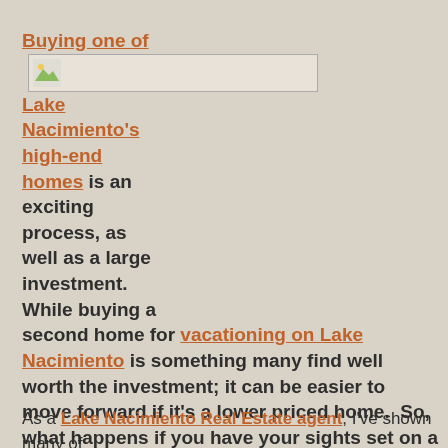Buying one of Lake Nacimiento's high-end homes is an exciting process, as well as a large investment. While buying a second home for vacationing on Lake Nacimiento is something many find well worth the investment; it can be easier to move forward if it's a lower priced home.  So, what happens if you have your sights set on a Lake Nacimiento home with sweeping views and luxury finishes?
As a Lake Nacimiento Real Estate agent, I've shown many of